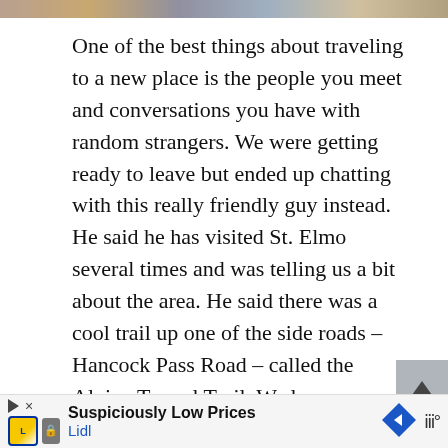[Figure (photo): Narrow horizontal image strip at top showing travel/outdoor scene photos]
One of the best things about traveling to a new place is the people you meet and conversations you have with random strangers. We were getting ready to leave but ended up chatting with this really friendly guy instead. He said he has visited St. Elmo several times and was telling us a bit about the area. He said there was a cool trail up one of the side roads – Hancock Pass Road – called the Alpine Tunnel Trail. We love spontaneous side trips so we decided to check it out. We didn't have
[Figure (screenshot): Lidl advertisement banner at bottom: 'Suspiciously Low Prices' with Lidl logo, navigation diamond icon, and audio waves icon]